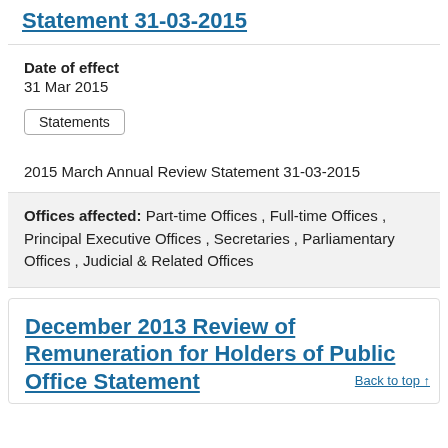Statement 31-03-2015
Date of effect
31 Mar 2015
Statements
2015 March Annual Review Statement 31-03-2015
Offices affected: Part-time Offices , Full-time Offices , Principal Executive Offices , Secretaries , Parliamentary Offices , Judicial & Related Offices
December 2013 Review of Remuneration for Holders of Public Office Statement